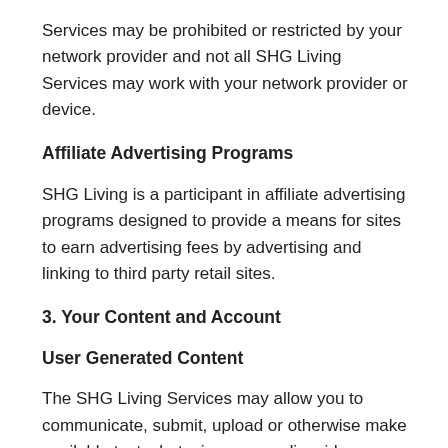Services may be prohibited or restricted by your network provider and not all SHG Living Services may work with your network provider or device.
Affiliate Advertising Programs
SHG Living is a participant in affiliate advertising programs designed to provide a means for sites to earn advertising fees by advertising and linking to third party retail sites.
3. Your Content and Account
User Generated Content
The SHG Living Services may allow you to communicate, submit, upload or otherwise make available text, chats, images, audio, video, competition